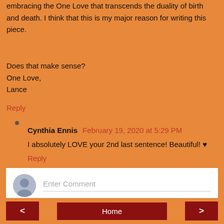embracing the One Love that transcends the duality of birth and death. I think that this is my major reason for writing this piece.
Does that make sense?
One Love,
Lance
Reply
Cynthia Ennis February 19, 2020 at 5:29 PM
I absolutely LOVE your 2nd last sentence! Beautiful! ♥
Reply
[Figure (other): Comment input box with avatar and Enter Comment placeholder text]
< Home >